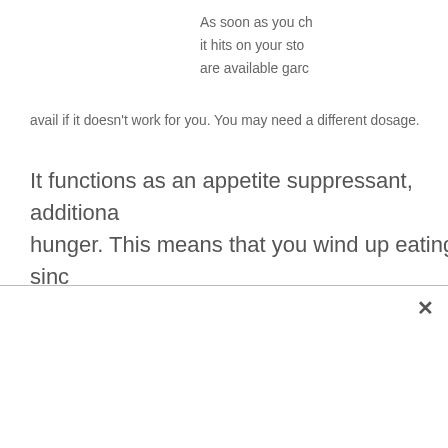As soon as you ch... it hits on your sto... are available garc... avail if it doesn't work for you. You may need a different dosage.
It functions as an appetite suppressant, additiona... hunger. This means that you wind up eating sinc...
Garcinia Cambog... and there are no a... instances in. It sh... allergies to the su... and it, respectivel...